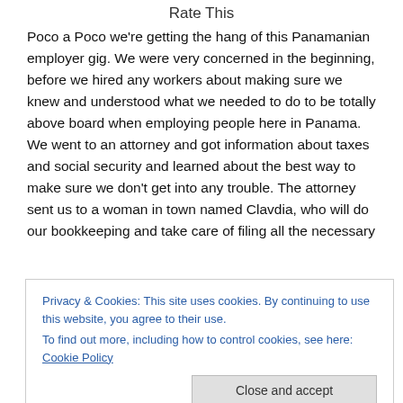Rate This
Poco a Poco we're getting the hang of this Panamanian employer gig. We were very concerned in the beginning, before we hired any workers about making sure we knew and understood what we needed to do to be totally above board when employing people here in Panama. We went to an attorney and got information about taxes and social security and learned about the best way to make sure we don't get into any trouble. The attorney sent us to a woman in town named Clavdia, who will do our bookkeeping and take care of filing all the necessary
Privacy & Cookies: This site uses cookies. By continuing to use this website, you agree to their use.
To find out more, including how to control cookies, see here: Cookie Policy
Close and accept
some of the issues one can have when hiring people to